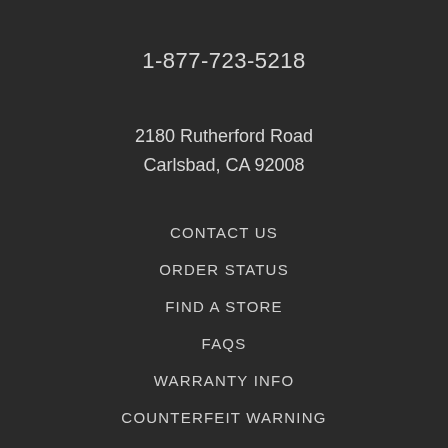1-877-723-5218
2180 Rutherford Road
Carlsbad, CA 92008
CONTACT US
ORDER STATUS
FIND A STORE
FAQS
WARRANTY INFO
COUNTERFEIT WARNING
RETURN POLICY